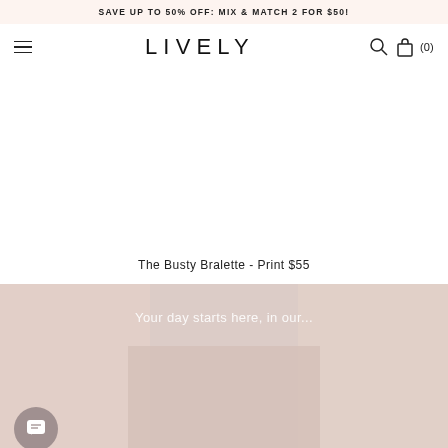SAVE UP TO 50% OFF: MIX & MATCH 2 FOR $50!
LIVELY
The Busty Bralette - Print $55
[Figure (photo): Bottom section showing lifestyle imagery with overlaid text 'Your day starts here, in our...', chat button visible at lower left]
Your day starts here, in our...